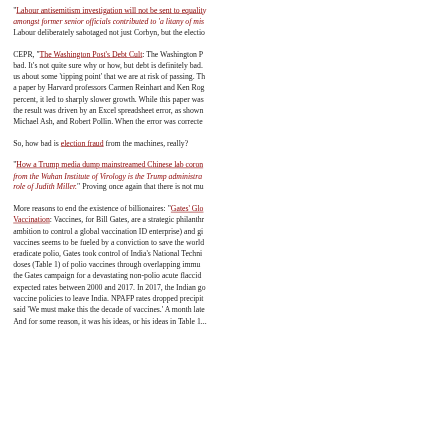"Labour antisemitism investigation will not be sent to equality watchdog" amongst former senior officials contributed to 'a litany of mis... Labour deliberately sabotaged not just Corbyn, but the electio...
CEPR, "The Washington Post's Debt Cult": The Washington P... bad. It's not quite sure why or how, but debt is definitely bad. us about some 'tipping point' that we are at risk of passing. Th... a paper by Harvard professors Carmen Reinhart and Ken Rog... percent, it led to sharply slower growth. While this paper was... the result was driven by an Excel spreadsheet error, as shown... Michael Ash, and Robert Pollin. When the error was correcte...
So, how bad is election fraud from the machines, really?
"How a Trump media dump mainstreamed Chinese lab coron... from the Wuhan Institute of Virology is the Trump administra... role of Judith Miller." Proving once again that there is not mu...
More reasons to end the existence of billionaires: "Gates' Glo... Vaccination: Vaccines, for Bill Gates, are a strategic philanthr... ambition to control a global vaccination ID enterprise) and gi... vaccines seems to be fueled by a conviction to save the world... eradicate polio, Gates took control of India's National Techni... doses (Table 1) of polio vaccines through overlapping immu... the Gates campaign for a devastating non-polio acute flaccid ... expected rates between 2000 and 2017. In 2017, the Indian go... vaccine policies to leave India. NPAFP rates dropped precipit... said 'We must make this the decade of vaccines.' A month late...